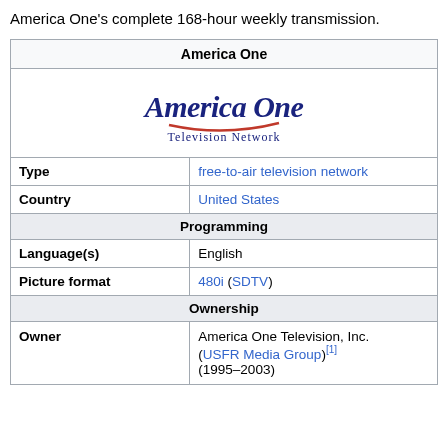America One's complete 168-hour weekly transmission.
| America One |  |
| [logo] |  |
| Type | free-to-air television network |
| Country | United States |
| Programming |  |
| Language(s) | English |
| Picture format | 480i (SDTV) |
| Ownership |  |
| Owner | America One Television, Inc. (USFR Media Group)[1] (1995–2003) |